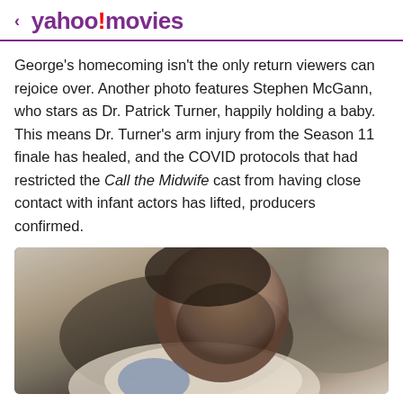< yahoo!movies
George's homecoming isn't the only return viewers can rejoice over. Another photo features Stephen McGann, who stars as Dr. Patrick Turner, happily holding a baby. This means Dr. Turner's arm injury from the Season 11 finale has healed, and the COVID protocols that had restricted the Call the Midwife cast from having close contact with infant actors has lifted, producers confirmed.
[Figure (photo): A man (Stephen McGann as Dr. Patrick Turner) looking downward, wearing a white coat, photographed from close range with a blurred background.]
View comments